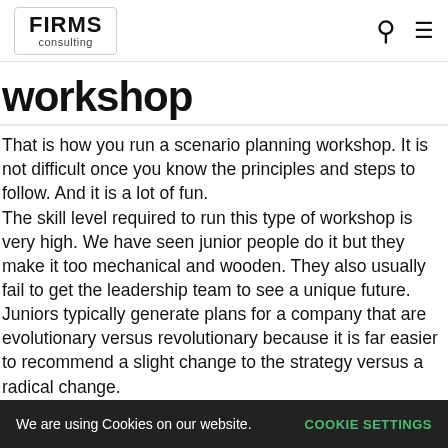FIRMS consulting
workshop
That is how you run a scenario planning workshop. It is not difficult once you know the principles and steps to follow. And it is a lot of fun.
The skill level required to run this type of workshop is very high. We have seen junior people do it but they make it too mechanical and wooden. They also usually fail to get the leadership team to see a unique future. Juniors typically generate plans for a company that are evolutionary versus revolutionary because it is far easier to recommend a slight change to the strategy versus a radical change.
It takes an enormous amount of skill to allow the executives to
We are using Cookies on our website.   COOKIE SETTINGS